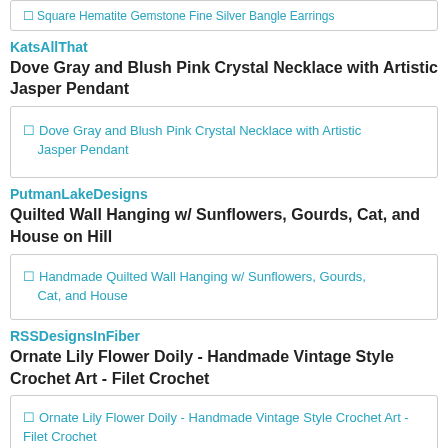[Figure (screenshot): Image placeholder for Square Hematite Gemstone Fine Silver Bangle Earrings]
KatsAllThat
Dove Gray and Blush Pink Crystal Necklace with Artistic Jasper Pendant
[Figure (screenshot): Image placeholder: Dove Gray and Blush Pink Crystal Necklace with Artistic Jasper Pendant]
PutmanLakeDesigns
Quilted Wall Hanging w/ Sunflowers, Gourds, Cat, and House on Hill
[Figure (screenshot): Image placeholder: Handmade Quilted Wall Hanging w/ Sunflowers, Gourds, Cat, and House]
RSSDesignsInFiber
Ornate Lily Flower Doily - Handmade Vintage Style Crochet Art - Filet Crochet
[Figure (screenshot): Image placeholder: Ornate Lily Flower Doily - Handmade Vintage Style Crochet Art - Filet Crochet]